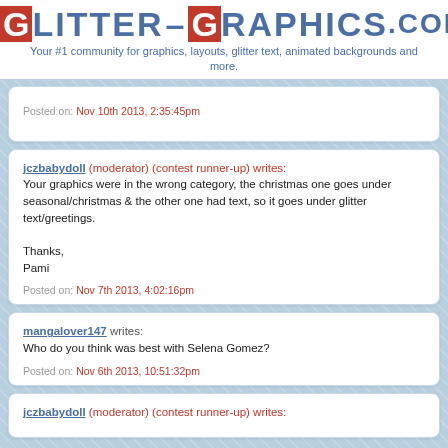GLITTER-GRAPHICS.COM
Your #1 community for graphics, layouts, glitter text, animated backgrounds and more.
Posted on: Nov 10th 2013, 2:35:45pm
jczbabydoll (moderator) (contest runner-up) writes:
Your graphics were in the wrong category, the christmas one goes under seasonal/christmas & the other one had text, so it goes under glitter text/greetings.

Thanks,
Pami

Posted on: Nov 7th 2013, 4:02:16pm
mangalover147 writes:
Who do you think was best with Selena Gomez?

Posted on: Nov 6th 2013, 10:51:32pm
jczbabydoll (moderator) (contest runner-up) writes: